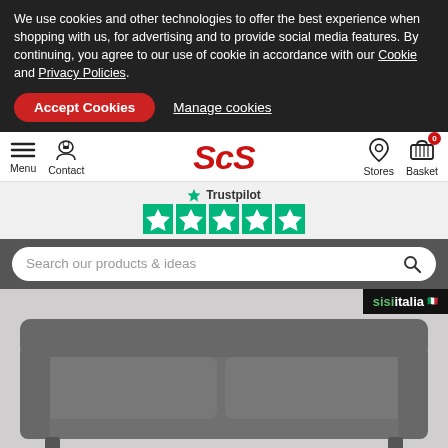We use cookies and other technologies to offer the best experience when shopping with us, for advertising and to provide social media features. By continuing, you agree to our use of cookie in accordance with our Cookie and Privacy Policies.
Accept Cookies   Manage cookies
[Figure (screenshot): SCS furniture retail website header with navigation: Menu, Contact, SCS logo, Stores, Basket (0 items)]
[Figure (logo): Trustpilot rating bar with 5 green stars]
Search our products & ideas
[Figure (photo): Grey leather 2-seater sofa with Sisi Italia branding badge in top right corner]